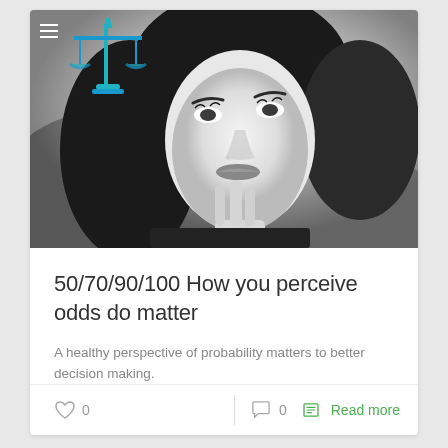[Figure (photo): Black and white photo of a woman with dark hair, resting her chin/finger thoughtfully, with a scales of justice logo overlay in blue/teal at top left]
50/70/90/100 How you perceive odds do matter
A healthy perspective of probability matters to better decision making.
♡ 0   0   Read more